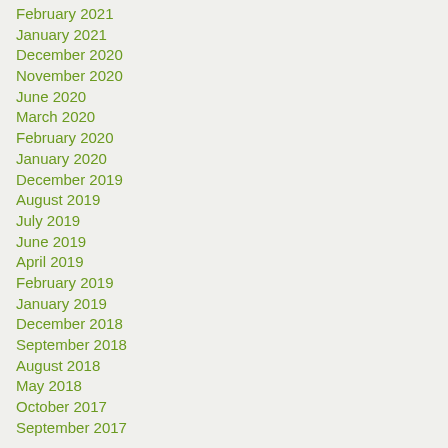February 2021
January 2021
December 2020
November 2020
June 2020
March 2020
February 2020
January 2020
December 2019
August 2019
July 2019
June 2019
April 2019
February 2019
January 2019
December 2018
September 2018
August 2018
May 2018
October 2017
September 2017